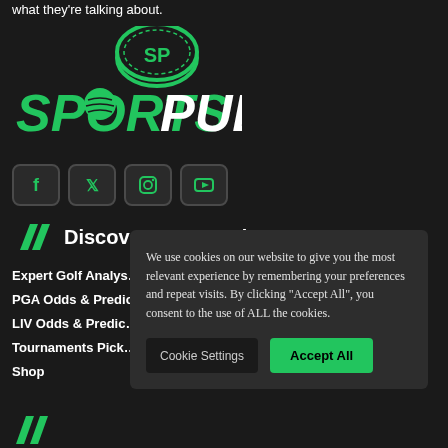what they're talking about.
[Figure (logo): SportsPub logo with green coin/disc icon above green bold text SPORTSPUB]
[Figure (infographic): Row of social media icons: Facebook, Twitter, Instagram, YouTube in dark rounded square buttons with green icons]
Discover Sportspub
Expert Golf Analys...
PGA Odds & Predic...
LIV Odds & Predic...
Tournaments Pick...
Shop
We use cookies on our website to give you the most relevant experience by remembering your preferences and repeat visits. By clicking “Accept All”, you consent to the use of ALL the cookies.
Cookie Settings
Accept All